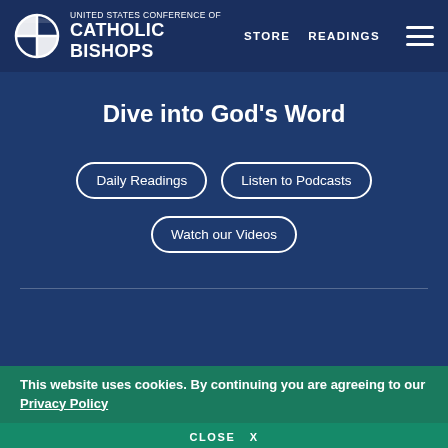UNITED STATES CONFERENCE OF CATHOLIC BISHOPS | STORE | READINGS
Dive into God's Word
Daily Readings
Listen to Podcasts
Watch our Videos
About USCCB
The United States Conference of Catholic Bishops' (USCCB's) mission is to encounter the mercy of Christ
This website uses cookies. By continuing you are agreeing to our Privacy Policy
CLOSE X